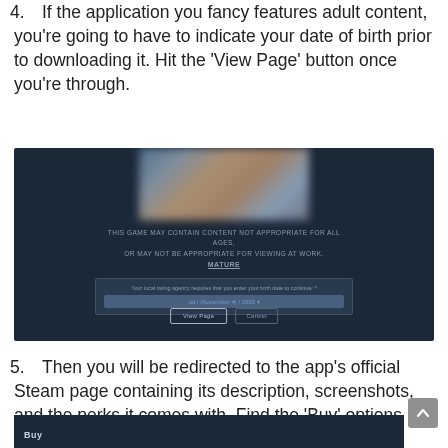4. If the application you fancy features adult content, you're going to have to indicate your date of birth prior to downloading it. Hit the 'View Page' button once you're through.
[Figure (screenshot): Steam age verification dialog showing a blurred game banner, warning text 'THIS GAME MAY CONTAIN CONTENT NOT APPROPRIATE FOR ALL AGES, OR MAY NOT BE APPROPRIATE FOR VIEWING AT WORK. Mature', a birth date input field, and 'View Page' and 'Cancel' buttons on a dark navy background.]
5. Then you will be redirected to the app's official Steam page containing its description, screenshots, and the perks it comes with. Find the 'Buy' options under the game's screenshots.
[Figure (screenshot): Bottom portion of a Steam page showing the 'Buy' section header on a dark navy background.]